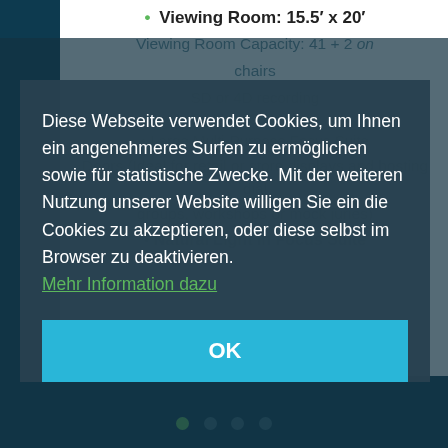Viewing Room: 15.5' x 20'
Viewing Room Capacity: 41 + 2 on chairs
SD or 4D recording
2/HD or 360 Video
Large Multi-Purpose Focus Suite Doors (Ideal for retail or store displays and hosting dial groups, workshops or mock juries)
Natural Light in Focus Suite
Diese Webseite verwendet Cookies, um Ihnen ein angenehmeres Surfen zu ermöglichen sowie für statistische Zwecke. Mit der weiteren Nutzung unserer Website willigen Sie ein die Cookies zu akzeptieren, oder diese selbst im Browser zu deaktivieren. Mehr Information dazu
OK